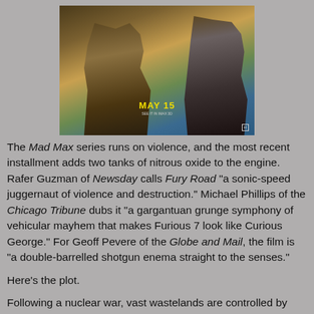[Figure (photo): Movie poster for Mad Max: Fury Road showing two characters, with text 'MAY 15' in yellow]
The Mad Max series runs on violence, and the most recent installment adds two tanks of nitrous oxide to the engine. Rafer Guzman of Newsday calls Fury Road "a sonic-speed juggernaut of violence and destruction." Michael Phillips of the Chicago Tribune dubs it "a gargantuan grunge symphony of vehicular mayhem that makes Furious 7 look like Curious George." For Geoff Pevere of the Globe and Mail, the film is "a double-barrelled shotgun enema straight to the senses."
Here’s the plot.
Following a nuclear war, vast wastelands are controlled by anyone who can get enough water and gasoline to dominate the people around him. "Immortan Joe" (Hugh Keays-Byrne) leads a cult centered around the flourishing of his own sons.